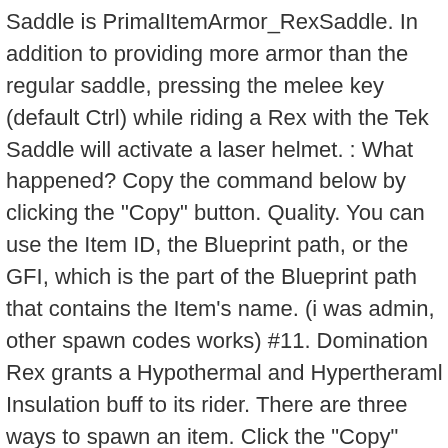Saddle is PrimalItemArmor_RexSaddle. In addition to providing more armor than the regular saddle, pressing the melee key (default Ctrl) while riding a Rex with the Tek Saddle will activate a laser helmet. : What happened? Copy the command below by clicking the "Copy" button. Quality. You can use the Item ID, the Blueprint path, or the GFI, which is the part of the Blueprint path that contains the Item's name. (i was admin, other spawn codes works) #11. Domination Rex grants a Hypothermal and Hypertheraml Insulation buff to its rider. There are three ways to spawn an item. Click the "Copy" button to quick copy the Rex Tek Saddle blueprint to your clipboard for use in the Ark game or server. ARK ID for Rex Saddle is PrimalItemArmor_RexSaddle. Saddle! ! This helmet can fire laser projectiles in front of the Rex, which deal explosive